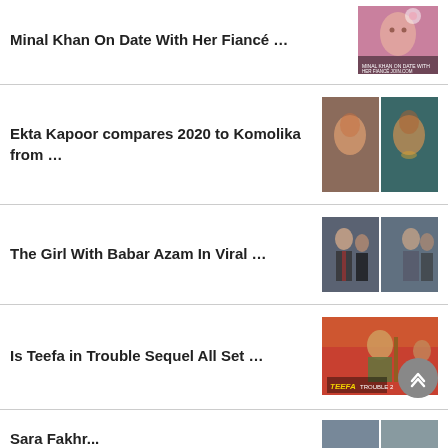Minal Khan On Date With Her Fiancé …
Ekta Kapoor compares 2020 to Komolika from …
The Girl With Babar Azam In Viral …
Is Teefa in Trouble Sequel All Set …
Sara Fakh...